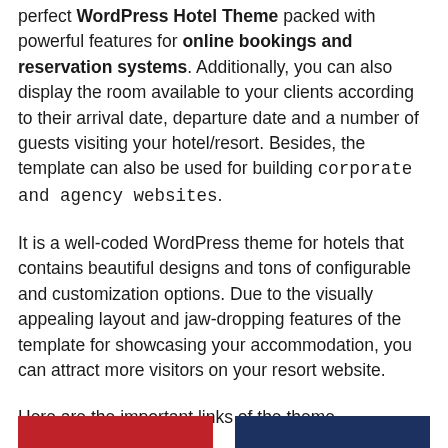perfect WordPress Hotel Theme packed with powerful features for online bookings and reservation systems. Additionally, you can also display the room available to your clients according to their arrival date, departure date and a number of guests visiting your hotel/resort. Besides, the template can also be used for building corporate and agency websites.
It is a well-coded WordPress theme for hotels that contains beautiful designs and tons of configurable and customization options. Due to the visually appealing layout and jaw-dropping features of the template for showcasing your accommodation, you can attract more visitors on your resort website.
Here are the important links of the theme
[Figure (other): Two colored buttons - red on left and navy blue on right, partially visible at bottom of page]